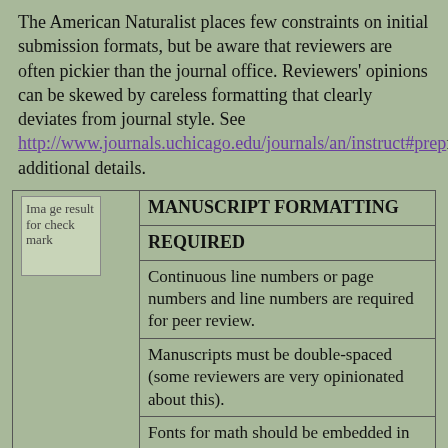The American Naturalist places few constraints on initial submission formats, but be aware that reviewers are often pickier than the journal office. Reviewers' opinions can be skewed by careless formatting that clearly deviates from journal style. See http://www.journals.uchicago.edu/journals/an/instruct#prep for additional details.
| [image] | MANUSCRIPT FORMATTING |
| --- | --- |
|  | REQUIRED |
|  | Continuous line numbers or page numbers and line numbers are required for peer review. |
|  | Manuscripts must be double-spaced (some reviewers are very opinionated about this). |
|  | Fonts for math should be embedded in the pdf. |
|  | RECOMMENDED |